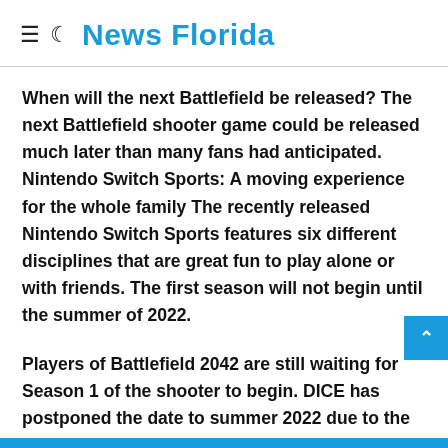≡ ☾ News Florida
When will the next Battlefield be released? The next Battlefield shooter game could be released much later than many fans had anticipated. Nintendo Switch Sports: A moving experience for the whole family The recently released Nintendo Switch Sports features six different disciplines that are great fun to play alone or with friends. The first season will not begin until the summer of 2022.
Players of Battlefield 2042 are still waiting for Season 1 of the shooter to begin. DICE has postponed the date to summer 2022 due to the problematic start. Instead of creating new content, the time was spent responding to community feedback and updating the website. Within the seasons, new specialists, maps, and many other things